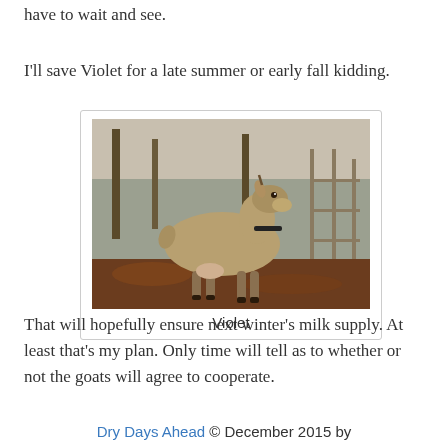have to wait and see.
I'll save Violet for a late summer or early fall kidding.
[Figure (photo): A brown/tan goat standing in a pen with fallen leaves on the ground and fencing in the background. The goat wears a black collar and faces right.]
Violet
That will hopefully ensure next winter's milk supply. At least that's my plan. Only time will tell as to whether or not the goats will agree to cooperate.
Dry Days Ahead © December 2015 by